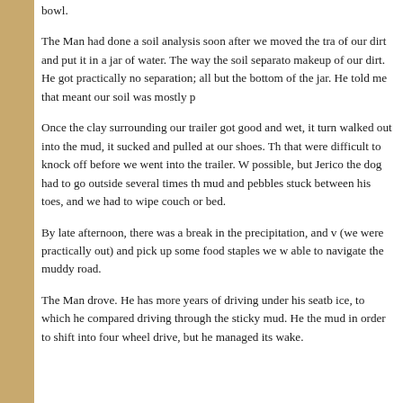bowl.
The Man had done a soil analysis soon after we moved the tra of our dirt and put it in a jar of water. The way the soil separato makeup of our dirt. He got practically no separation; all but the bottom of the jar. He told me that meant our soil was mostly p
Once the clay surrounding our trailer got good and wet, it turn walked out into the mud, it sucked and pulled at our shoes. Th that were difficult to knock off before we went into the trailer. V possible, but Jerico the dog had to go outside several times th mud and pebbles stuck between his toes, and we had to wipe couch or bed.
By late afternoon, there was a break in the precipitation, and v (we were practically out) and pick up some food staples we w able to navigate the muddy road.
The Man drove. He has more years of driving under his seatb ice, to which he compared driving through the sticky mud. He the mud in order to shift into four wheel drive, but he managed its wake.